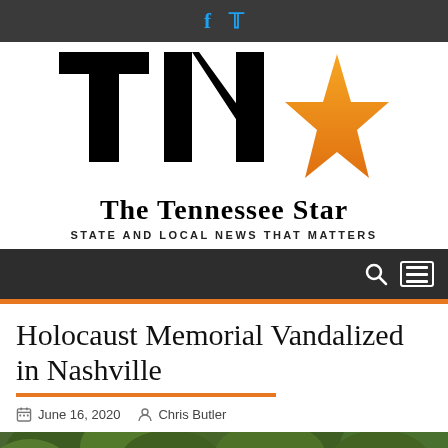Social media icons: Facebook, Twitter
[Figure (logo): The Tennessee Star logo with large TN letters and an orange star, with tagline STATE AND LOCAL NEWS THAT MATTERS]
Holocaust Memorial Vandalized in Nashville
June 16, 2020  Chris Butler
[Figure (photo): Partial view of outdoor greenery/trees at the Holocaust Memorial]